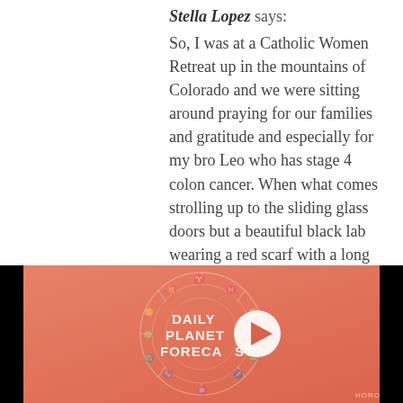Stella Lopez says: So, I was at a Catholic Women Retreat up in the mountains of Colorado and we were sitting around praying for our families and gratitude and especially for my bro Leo who has stage 4 colon cancer. When what comes strolling up to the sliding glass doors but a beautiful black lab wearing a red scarf with a long dog tag on. One of the ladies said, his name is LEO, I think I went into some kind of trance, because Leo is my brother's name and what are the chances of a black beautiful dog with a red scarf with the dog tag name LEO to[x]ep onto the patio and look in
[Figure (screenshot): Video thumbnail for 'Daily Planet Forecast' on a coral/salmon gradient background with a circular zodiac wheel design and a white play button in the center. The word HOROSCOPE is at the bottom right.]